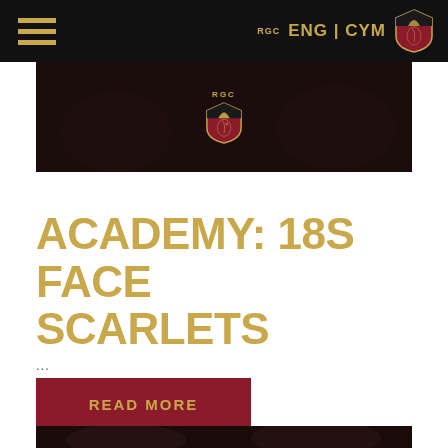ENG | CYM — RGC navigation bar with hamburger menu and shield logo
[Figure (photo): Dark hero banner image with RGC rugby club shield logo centered, players visible in background]
ACADEMY: 18S FACE SCARLETS
...
READ MORE